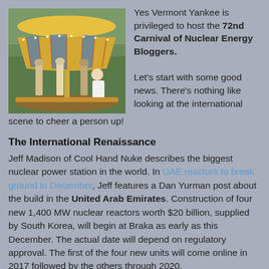[Figure (photo): A colorful ornate carousel (merry-go-round) with horses and decorative canopy, photographed outdoors with trees visible in background.]
Yes Vermont Yankee is privileged to host the 72nd Carnival of Nuclear Energy Bloggers.

Let's start with some good news. There's nothing like looking at the international scene to cheer a person up!
The International Renaissance
Jeff Madison of Cool Hand Nuke describes the biggest nuclear power station in the world. In UAE reactors to break ground in December, Jeff features a Dan Yurman post about the build in the United Arab Emirates. Construction of four new 1,400 MW nuclear reactors worth $20 billion, supplied by South Korea, will begin at Braka as early as this December. The actual date will depend on regulatory approval. The first of the four new units will come online in 2017 followed by the others through 2020.